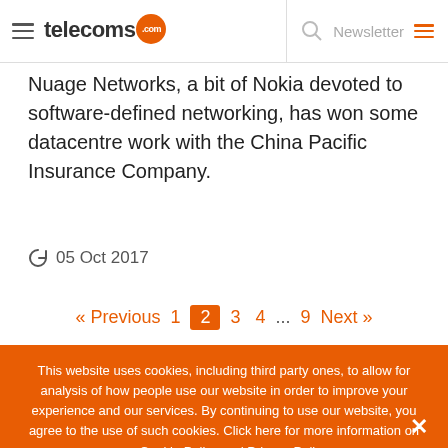telecoms.com
Nuage Networks, a bit of Nokia devoted to software-defined networking, has won some datacentre work with the China Pacific Insurance Company.
05 Oct 2017
« Previous 1 2 3 4 ... 9 Next »
This website uses cookies, including third party ones, to allow for analysis of how people use our website in order to improve your experience and our services. By continuing to use our website, you agree to the use of such cookies. Click here for more information on our Cookie Policy and Privacy Policy.